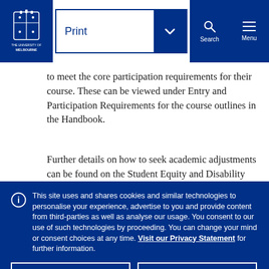University of Melbourne – Print navigation header with Search and Menu
to meet the core participation requirements for their course. These can be viewed under Entry and Participation Requirements for the course outlines in the Handbook.
Further details on how to seek academic adjustments can be found on the Student Equity and Disability
This site uses and shares cookies and similar technologies to personalise your experience, advertise to you and provide content from third-parties as well as analyse our usage. You consent to our use of such technologies by proceeding. You can change your mind or consent choices at any time. Visit our Privacy Statement for further information.
Accept cookies
Cookie Preferences